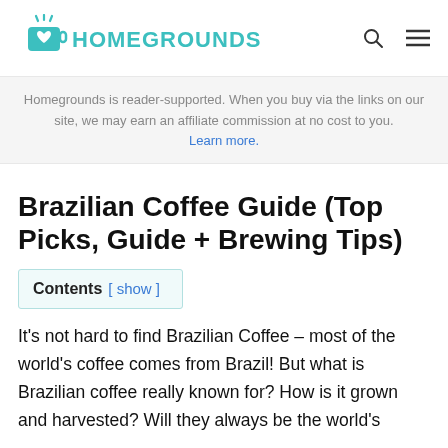HOMEGROUNDS
Homegrounds is reader-supported. When you buy via the links on our site, we may earn an affiliate commission at no cost to you. Learn more.
Brazilian Coffee Guide (Top Picks, Guide + Brewing Tips)
Contents [ show ]
It’s not hard to find Brazilian Coffee – most of the world’s coffee comes from Brazil! But what is Brazilian coffee really known for? How is it grown and harvested? Will they always be the world’s